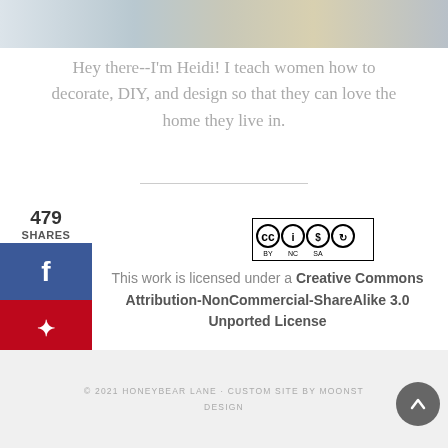[Figure (photo): Partial cropped photo of a blonde woman at the top of the page]
Hey there--I'm Heidi! I teach women how to decorate, DIY, and design so that they can love the home they live in.
479 SHARES
[Figure (logo): Creative Commons license badge showing BY NC SA icons]
This work is licensed under a Creative Commons Attribution-NonCommercial-ShareAlike 3.0 Unported License
© 2021 HONEYBEAR LANE · CUSTOM SITE BY MOONST... DESIGN